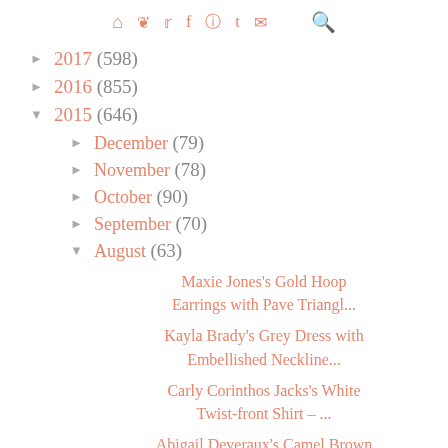Icons: home, pinterest, twitter, facebook, instagram, tumblr, email, search
► 2017 (598)
► 2016 (855)
▼ 2015 (646)
► December (79)
► November (78)
► October (90)
► September (70)
▼ August (63)
Maxie Jones's Gold Hoop Earrings with Pave Triangl...
Kayla Brady's Grey Dress with Embellished Neckline...
Carly Corinthos Jacks's White Twist-front Shirt – ...
Abigail Deveraux's Camel Brown Midi Skirt - Days o...